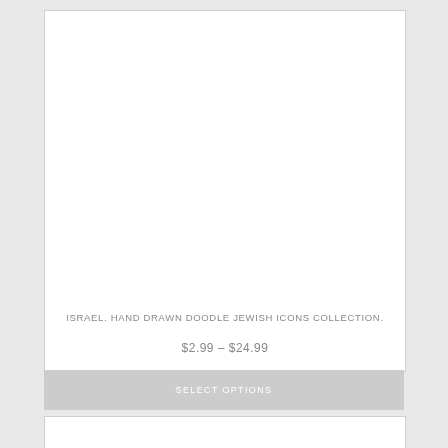[Figure (illustration): White card area showing a product listing with blank image area at top]
ISRAEL. HAND DRAWN DOODLE JEWISH ICONS COLLECTION.
$2.99 – $24.99
SELECT OPTIONS